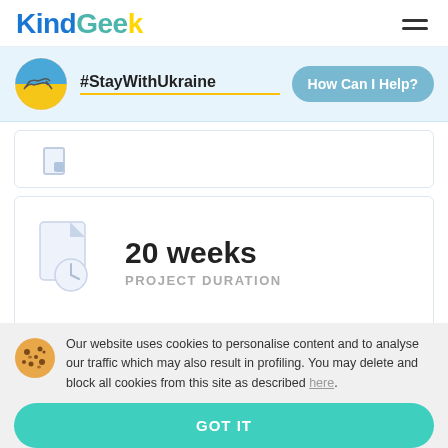[Figure (logo): KindGeek logo with colorful letters and hamburger menu icon]
[Figure (infographic): Ukraine support banner with handshake icon in circle, #StayWithUkraine text with underline, and 'How Can I Help?' button]
[Figure (illustration): Partial card with small icon]
[Figure (infographic): Card showing document icon with clock, '20 weeks' in large text, and 'PROJECT DURATION' label below]
Our website uses cookies to personalise content and to analyse our traffic which may also result in profiling. You may delete and block all cookies from this site as described here.
GOT IT